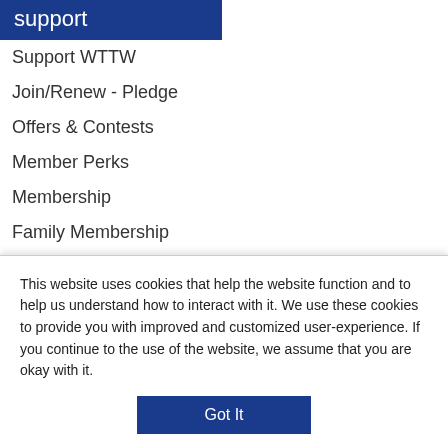support
Support WTTW
Join/Renew - Pledge
Offers & Contests
Member Perks
Membership
Family Membership
Corporate/Foundation Gifts
Major/Planned Gifts
Vehicle Donation
Volunteer
This website uses cookies that help the website function and to help us understand how to interact with it. We use these cookies to provide you with improved and customized user-experience. If you continue to the use of the website, we assume that you are okay with it.
Got It